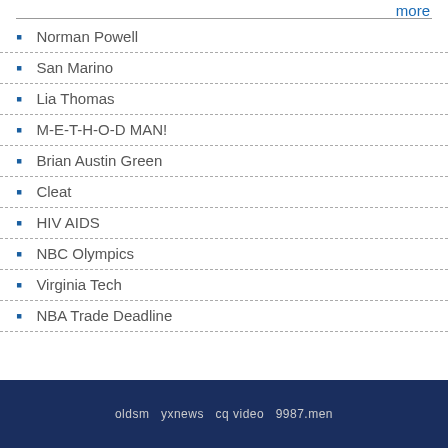more
Norman Powell
San Marino
Lia Thomas
M-E-T-H-O-D MAN!
Brian Austin Green
Cleat
HIV AIDS
NBC Olympics
Virginia Tech
NBA Trade Deadline
oldsm  yxnews  cq video  9987.men